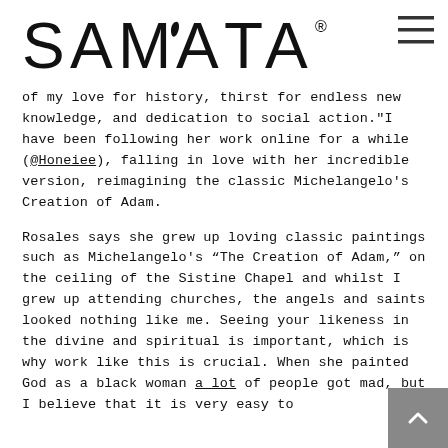SAMATA
of my love for history, thirst for endless new knowledge, and dedication to social action."I have been following her work online for a while (@Honeiee), falling in love with her incredible version, reimagining the classic Michelangelo's Creation of Adam.
Rosales says she grew up loving classic paintings such as Michelangelo’s “The Creation of Adam,” on the ceiling of the Sistine Chapel and whilst I grew up attending churches, the angels and saints looked nothing like me. Seeing your likeness in the divine and spiritual is important, which is why work like this is crucial. When she painted God as a black woman a lot of people got mad, but I believe that it is very easy to